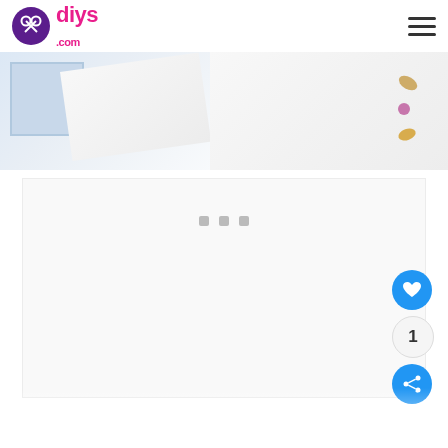diys.com
[Figure (photo): Top image strip showing two photos: left photo shows a white shelf/box and diagonal white paper, right photo shows small jewelry/crafts items on white background]
[Figure (photo): Large white/light gray content area placeholder in the main body]
[Figure (infographic): Three dot slide indicators in a row]
[Figure (infographic): Blue heart favorite FAB button with count 1 and blue share FAB button on the right side]